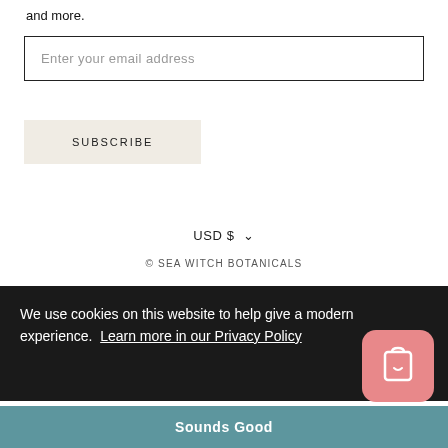and more.
Enter your email address
SUBSCRIBE
USD $
© SEA WITCH BOTANICALS
We use cookies on this website to help give a modern experience.  Learn more in our Privacy Policy
Sounds Good